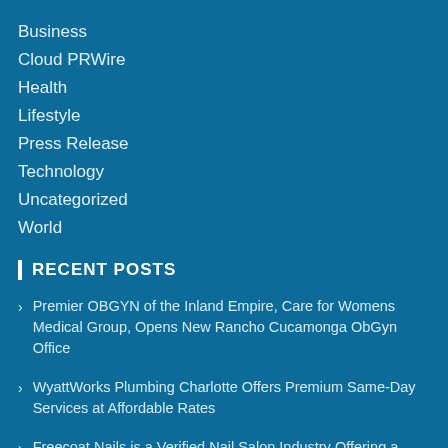Business
Cloud PRWire
Health
Lifestyle
Press Release
Technology
Uncategorized
World
RECENT POSTS
Premier OBGYN of the Inland Empire, Care for Womens Medical Group, Opens New Rancho Cucamonga ObGyn Office
WyattWorks Plumbing Charlotte Offers Premium Same-Day Services at Affordable Rates
Freecoat Nails is a Verified Nail Salon Industry Offering a Non-toxic Beauty Bar Franchise Opportunity